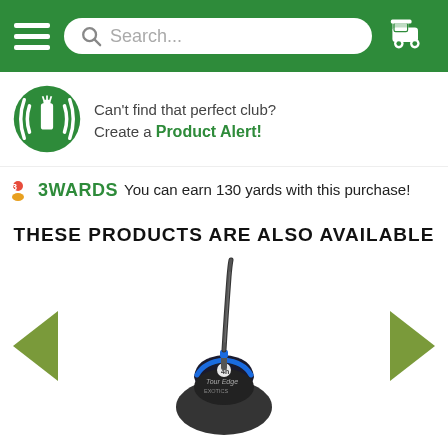[Figure (screenshot): Green navigation bar with hamburger menu icon on the left, search bar in center reading 'Search...', and golf cart icon on the right]
[Figure (logo): Green circular icon with radio signal waves and golf bag, representing a Product Alert feature]
Can't find that perfect club? Create a Product Alert!
3WARDS You can earn 130 yards with this purchase!
THESE PRODUCTS ARE ALSO AVAILABLE
[Figure (photo): Tour Edge golf hybrid club with black head and blue accents, shown at an angle in a product carousel with green left and right navigation arrows]